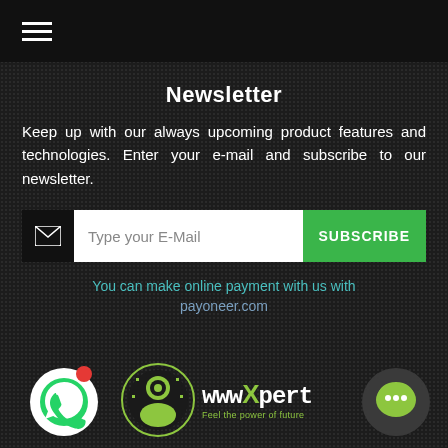☰ (hamburger menu icon)
Newsletter
Keep up with our always upcoming product features and technologies. Enter your e-mail and subscribe to our newsletter.
Type your E-Mail | SUBSCRIBE
You can make online payment with us with
payoneer.com
[Figure (logo): WhatsApp icon in white circle with red notification dot]
[Figure (logo): wwwXpert logo with green head icon and text 'wwwXpert - Feel the power of future']
[Figure (logo): Green chat bubble icon in dark grey circle]